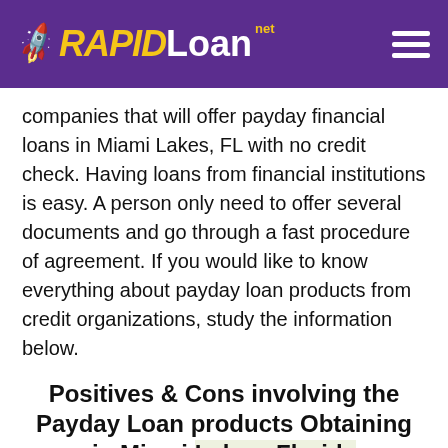RAPID Loan .net
companies that will offer payday financial loans in Miami Lakes, FL with no credit check. Having loans from financial institutions is easy. A person only need to offer several documents and go through a fast procedure of agreement. If you would like to know everything about payday loan products from credit organizations, study the information below.
Positives & Cons involving the Payday Loan products Obtaining in Miami Lakes, Florida
Obtaining payday loans within Miami Lakes, Florida, from credit score companies, has it is pros and cons.